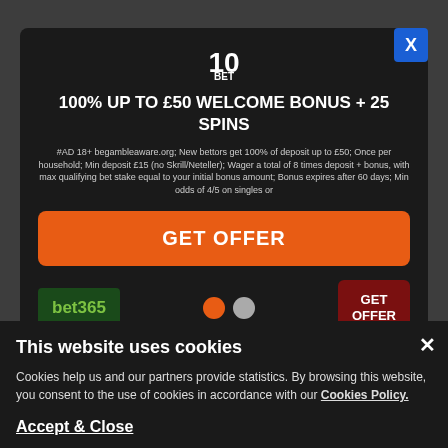[Figure (screenshot): 10bet popup modal with 100% UP TO £50 WELCOME BONUS + 25 SPINS offer, GET OFFER button, carousel with bet365 logo and navigation dots]
100% UP TO £50 WELCOME BONUS + 25 SPINS
#AD 18+ begambleaware.org; New bettors get 100% of deposit up to £50; Once per household; Min deposit £15 (no Skrill/Neteller); Wager a total of 8 times deposit + bonus, with max qualifying bet stake equal to your initial bonus amount; Bonus expires after 60 days; Min odds of 4/5 on singles or
GET OFFER
bet365
GET OFFER
Welcome Offer
[Figure (logo): BETFRED logo in blue rounded rectangle]
Bet £10 Get £60 in Bonuses
GET OFFER
This website uses cookies
Cookies help us and our partners provide statistics. By browsing this website, you consent to the use of cookies in accordance with our Cookies Policy.
Accept & Close